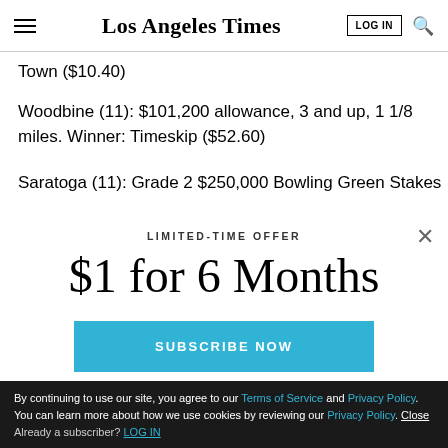Los Angeles Times
Town ($10.40)
Woodbine (11): $101,200 allowance, 3 and up, 1 1/8 miles. Winner: Timeskip ($52.60)
Saratoga (11): Grade 2 $250,000 Bowling Green Stakes
LIMITED-TIME OFFER
$1 for 6 Months
SUBSCRIBE NOW
By continuing to use our site, you agree to our Terms of Service and Privacy Policy. You can learn more about how we use cookies by reviewing our Privacy Policy. Close Already a subscriber? LOG IN